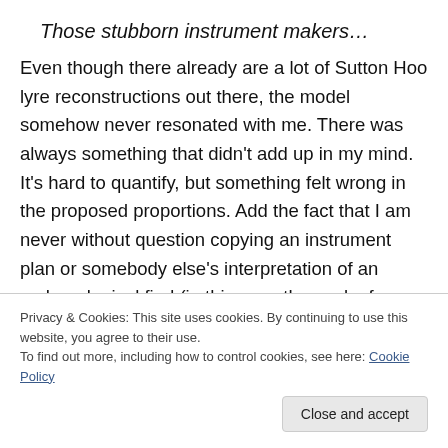Those stubborn instrument makers…
Even though there already are a lot of Sutton Hoo lyre reconstructions out there, the model somehow never resonated with me. There was always something that didn't add up in my mind. It's hard to quantify, but something felt wrong in the proposed proportions. Add the fact that I am never without question copying an instrument plan or somebody else's interpretation of an archaeological find (in this case the work of McIntire and the…
Privacy & Cookies: This site uses cookies. By continuing to use this website, you agree to their use.
To find out more, including how to control cookies, see here: Cookie Policy
Close and accept